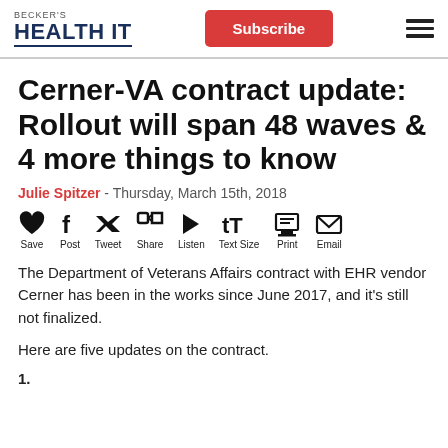BECKER'S HEALTH IT | Subscribe
Cerner-VA contract update: Rollout will span 48 waves & 4 more things to know
Julie Spitzer - Thursday, March 15th, 2018
[Figure (infographic): Social sharing icons: Save (heart), Post (Facebook), Tweet (Twitter), Share (LinkedIn), Listen (play), Text Size, Print, Email]
The Department of Veterans Affairs contract with EHR vendor Cerner has been in the works since June 2017, and it's still not finalized.
Here are five updates on the contract.
1. (partial, cut off)